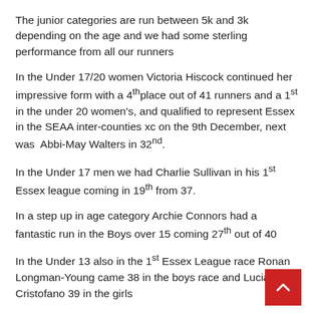The junior categories are run between 5k and 3k depending on the age and we had some sterling performance from all our runners
In the Under 17/20 women Victoria Hiscock continued her impressive form with a 4th place out of 41 runners and a 1st in the under 20 women's, and qualified to represent Essex in the SEAA inter-counties xc on the 9th December, next was  Abbi-May Walters in 32nd.
In the Under 17 men we had Charlie Sullivan in his 1st Essex league coming in 19th from 37.
In a step up in age category Archie Connors had a fantastic run in the Boys over 15 coming 27th out of 40
In the Under 13 also in the 1st Essex League race Ronan Longman-Young came 38 in the boys race and Lucia De Cristofano 39 in the girls